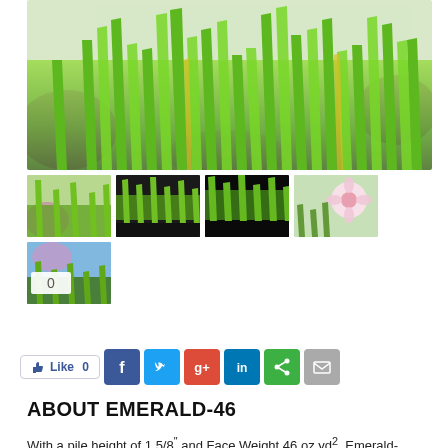[Figure (photo): Close-up photo of bright green artificial grass blades with pink flowers blurred in background]
[Figure (photo): Thumbnail 1: artificial grass with pink flower]
[Figure (photo): Thumbnail 2: artificial grass mat close-up on dark background]
[Figure (photo): Thumbnail 3: artificial grass mat from angle on dark background]
[Figure (photo): Thumbnail 4: pink flower close-up with green grass]
[Figure (photo): Thumbnail 5: artificial grass with pink flowers and blue sky, showing 0 counter overlay]
Save
Like 0
ABOUT EMERALD-46
With a pile height of 1 5/8" and Face Weight 46 oz.yd², Emerald-